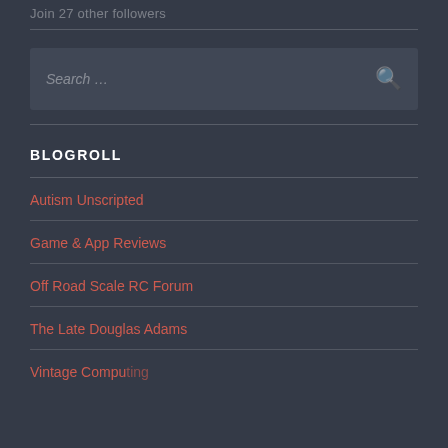Join 27 other followers
[Figure (other): Search bar with placeholder text 'Search ...' and a search icon on the right]
BLOGROLL
Autism Unscripted
Game & App Reviews
Off Road Scale RC Forum
The Late Douglas Adams
Vintage Computing